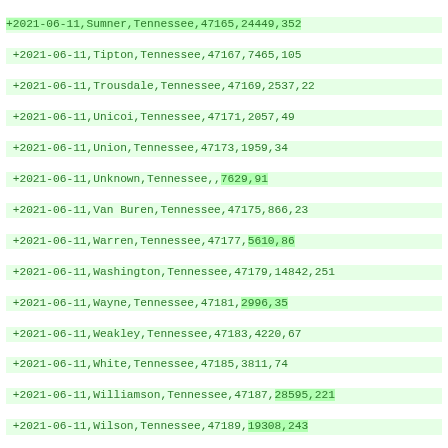Diff output of COVID-19 county-level case/death data for Tennessee, Texas, Wisconsin, and Wyoming counties dated 2021-06-11, showing added (+) and removed (-) lines with highlighted changes.